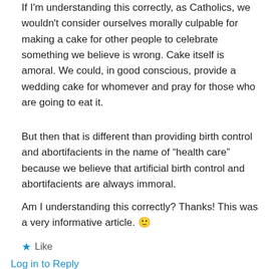If I'm understanding this correctly, as Catholics, we wouldn't consider ourselves morally culpable for making a cake for other people to celebrate something we believe is wrong. Cake itself is amoral. We could, in good conscious, provide a wedding cake for whomever and pray for those who are going to eat it.
But then that is different than providing birth control and abortifacients in the name of "health care" because we believe that artificial birth control and abortifacients are always immoral.
Am I understanding this correctly? Thanks! This was a very informative article. 🙂
★ Like
Log in to Reply